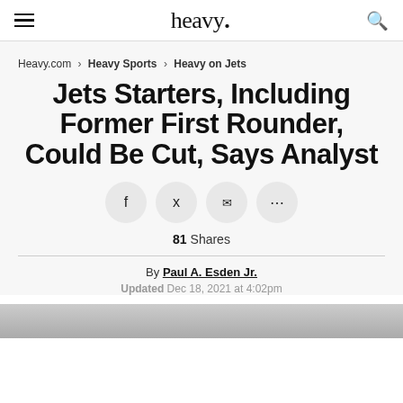heavy.
Heavy.com > Heavy Sports > Heavy on Jets
Jets Starters, Including Former First Rounder, Could Be Cut, Says Analyst
81 Shares
By Paul A. Esden Jr.
Updated Dec 18, 2021 at 4:02pm
[Figure (photo): Bottom edge of a photo, partially visible]